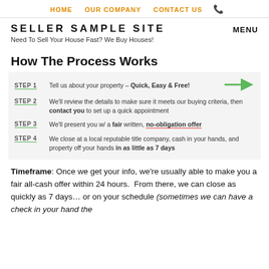HOME   OUR COMPANY   CONTACT US  📞
SELLER SAMPLE SITE
Need To Sell Your House Fast? We Buy Houses!
How The Process Works
STEP 1  Tell us about your property – Quick, Easy & Free!
STEP 2  We'll review the details to make sure it meets our buying criteria, then contact you to set up a quick appointment
STEP 3  We'll present you w/ a fair written, no-obligation offer
STEP 4  We close at a local reputable title company, cash in your hands, and property off your hands in as little as 7 days
Timeframe: Once we get your info, we're usually able to make you a fair all-cash offer within 24 hours. From there, we can close as quickly as 7 days… or on your schedule (sometimes we can have a check in your hand the